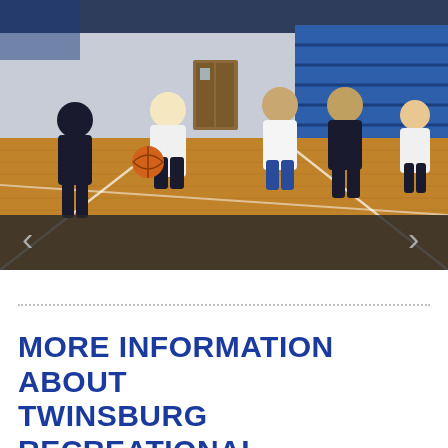[Figure (photo): Youth basketball game in indoor gymnasium. Multiple children in white and dark navy jerseys running on a hardwood court. Blue bleachers visible in background. Navigation arrows overlaid on dark semi-transparent bar at bottom of image.]
MORE INFORMATION ABOUT TWINSBURG RECREATIONAL BASKETBALL